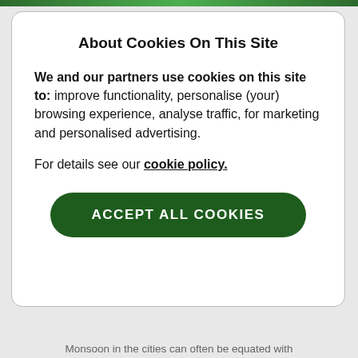About Cookies On This Site
We and our partners use cookies on this site to: improve functionality, personalise (your) browsing experience, analyse traffic, for marketing and personalised advertising.
For details see our cookie policy.
ACCEPT ALL COOKIES
Monsoon in the cities can often be equated with